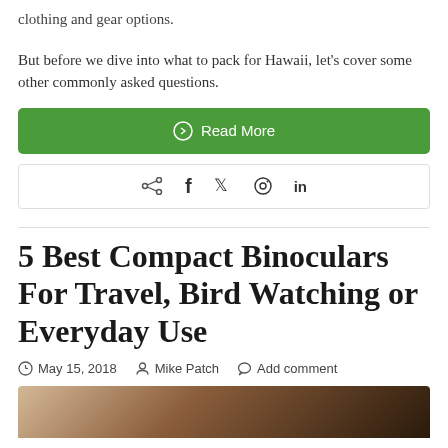clothing and gear options.
But before we dive into what to pack for Hawaii, let's cover some other commonly asked questions.
[Figure (other): Green 'Read More' button with circle-arrow icon]
[Figure (other): Social share bar with share, Facebook, Twitter, Pinterest, LinkedIn icons]
5 Best Compact Binoculars For Travel, Bird Watching or Everyday Use
May 15, 2018   Mike Patch   Add comment
[Figure (photo): Partial image visible at the bottom of the page, brownish tones suggesting an outdoor/nature photo]